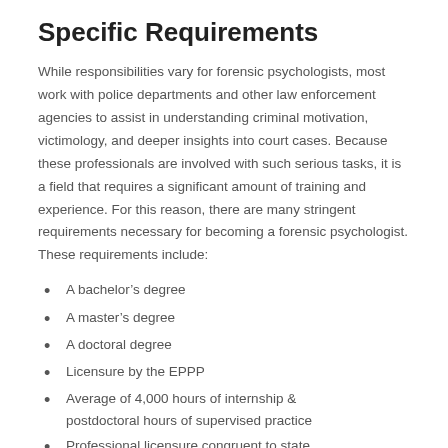Specific Requirements
While responsibilities vary for forensic psychologists, most work with police departments and other law enforcement agencies to assist in understanding criminal motivation, victimology, and deeper insights into court cases. Because these professionals are involved with such serious tasks, it is a field that requires a significant amount of training and experience. For this reason, there are many stringent requirements necessary for becoming a forensic psychologist. These requirements include:
A bachelor’s degree
A master’s degree
A doctoral degree
Licensure by the EPPP
Average of 4,000 hours of internship & postdoctoral hours of supervised practice
Professional licensure congruent to state